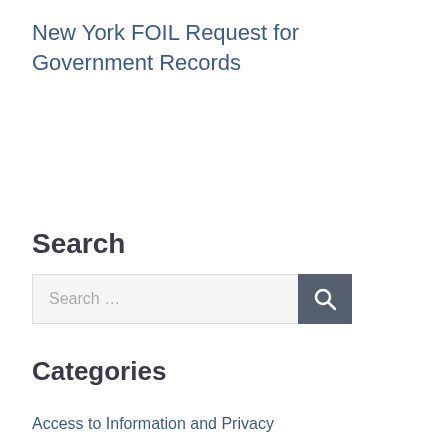New York FOIL Request for Government Records
Search
Search …
Categories
Access to Information and Privacy